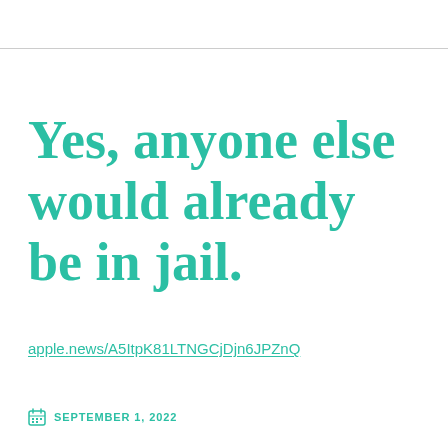Yes, anyone else would already be in jail.
apple.news/A5ItpK81LTNGCjDjn6JPZnQ
SEPTEMBER 1, 2022